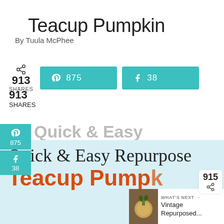Teacup Pumpkin
By Tuula McPhee
[Figure (screenshot): Social share bar showing 913 SHARES with teal Pinterest button (875) and teal Facebook button (38)]
913
SHARES
Quick & Easy Repurposed Teacup Pumpkin
[Figure (screenshot): Bottom banner image with script text 'Quick & Easy Repurpose' and bold red text 'Teacup Pumpkin' on light blue background, with What's Next overlay showing Vintage Repurposed...]